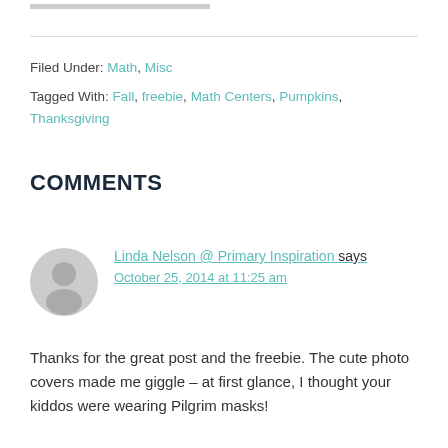Filed Under: Math, Misc
Tagged With: Fall, freebie, Math Centers, Pumpkins, Thanksgiving
COMMENTS
Linda Nelson @ Primary Inspiration says
October 25, 2014 at 11:25 am
Thanks for the great post and the freebie. The cute photo covers made me giggle – at first glance, I thought your kiddos were wearing Pilgrim masks!